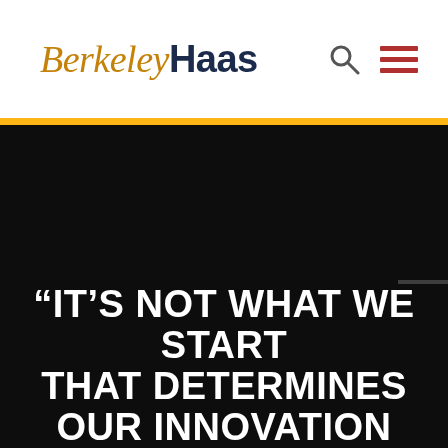BerkeleyHaas
[Figure (photo): Dark/black hero image background for Berkeley Haas website]
“IT’S NOT WHAT WE START THAT DETERMINES OUR INNOVATION